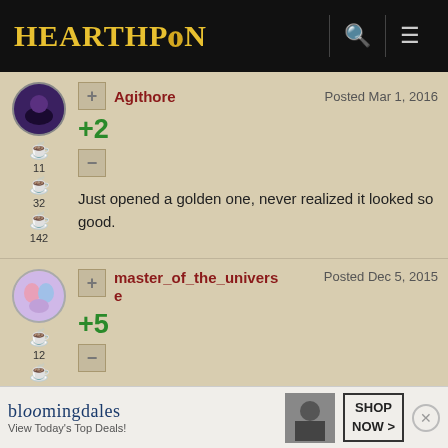HearthPwn
Agithore  Posted Mar 1, 2016
+2
Just opened a golden one, never realized it looked so good.
master_of_the_universe  Posted Dec 5, 2015
+5
Don't you hate it when a Druid attacks into this with
[Figure (other): Bloomingdales advertisement: View Today's Top Deals! SHOP NOW >]